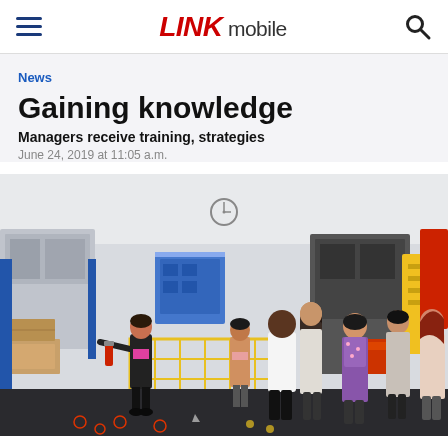LINK mobile
News
Gaining knowledge
Managers receive training, strategies
June 24, 2019 at 11:05 a.m.
[Figure (photo): A group of people standing in a warehouse/mail processing facility. A woman in a black jacket is gesturing while speaking to a group of managers during a tour or training session. Industrial equipment, caged carts, and boxes are visible in the background.]